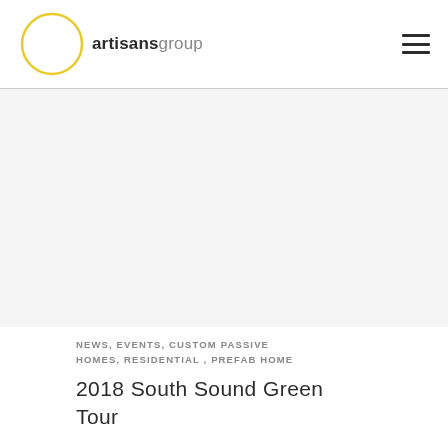artisansgroup
[Figure (photo): Large image placeholder area, white/light gray background, appears to be a photo that did not load]
NEWS, EVENTS, CUSTOM PASSIVE HOMES, RESIDENTIAL , PREFAB HOME
2018 South Sound Green Tour